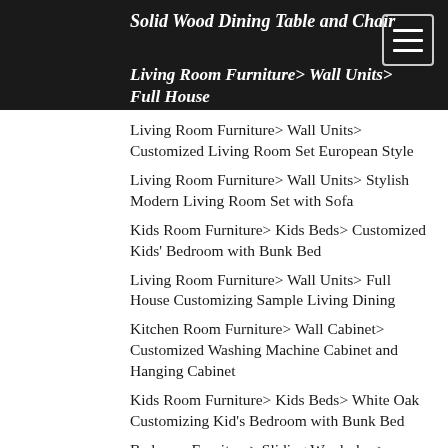Solid Wood Dining Table and Chair
Living Room Furniture> Wall Units> Full House Customizing Design Living Room
Living Room Furniture> Wall Units> Customized Living Room Set European Style
Living Room Furniture> Wall Units> Stylish Modern Living Room Set with Sofa
Kids Room Furniture> Kids Beds> Customized Kids' Bedroom with Bunk Bed
Living Room Furniture> Wall Units> Full House Customizing Sample Living Dining
Kitchen Room Furniture> Wall Cabinet> Customized Washing Machine Cabinet and Hanging Cabinet
Kids Room Furniture> Kids Beds> White Oak Customizing Kid's Bedroom with Bunk Bed
Bedroom Furniture> Sliding Wardrobes> Customizing Adult Bedroom with Built-in Sliding Wardrobe
Bedroom Furniture> Bed Sets> Modern Furniture